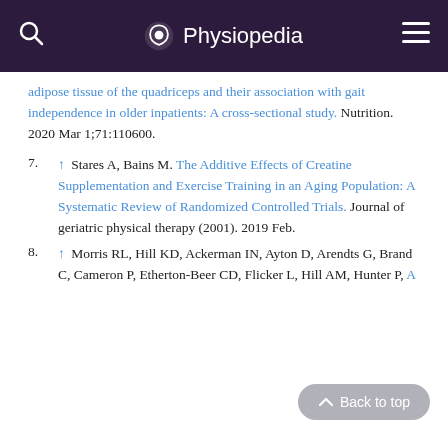Physiopedia
adipose tissue of the quadriceps and their association with gait independence in older inpatients: A cross-sectional study. Nutrition. 2020 Mar 1;71:110600.
7. ↑ Stares A, Bains M. The Additive Effects of Creatine Supplementation and Exercise Training in an Aging Population: A Systematic Review of Randomized Controlled Trials. Journal of geriatric physical therapy (2001). 2019 Feb.
8. ↑ Morris RL, Hill KD, Ackerman IN, Ayton D, Arendts G, Brand C, Cameron P, Etherton-Beer CD, Flicker L, Hill AM, Hunter P, A...